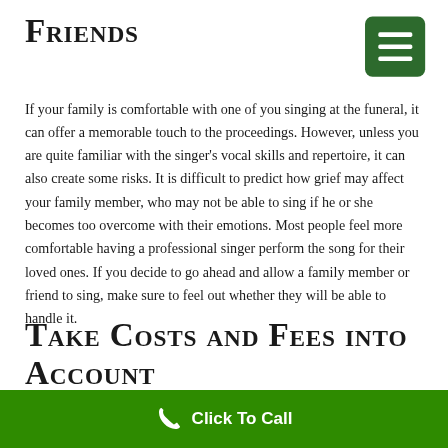Friends
If your family is comfortable with one of you singing at the funeral, it can offer a memorable touch to the proceedings. However, unless you are quite familiar with the singer's vocal skills and repertoire, it can also create some risks. It is difficult to predict how grief may affect your family member, who may not be able to sing if he or she becomes too overcome with their emotions. Most people feel more comfortable having a professional singer perform the song for their loved ones. If you decide to go ahead and allow a family member or friend to sing, make sure to feel out whether they will be able to handle it.
Take Costs and Fees into Account
The cost for a funeral singer varies widely depending on the number of
Click To Call